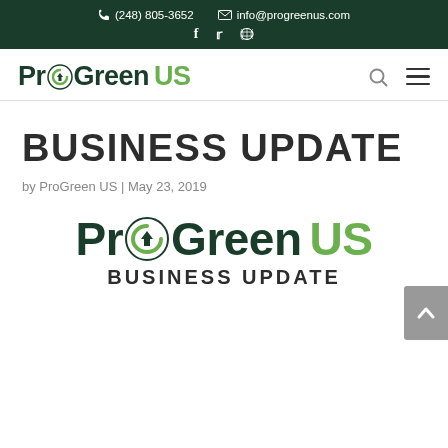☎ (248) 805-3652   ✉ info@progreenus.com   f  🐦  RSS
[Figure (logo): ProGreen US logo with leaf/home icon in the 'o' of Pro, dark green and lime green text]
BUSINESS UPDATE
by ProGreen US | May 23, 2019
[Figure (logo): Large ProGreen US logo with leaf/home icon, dark green and lime green text, with 'BUSINESS UPDATE' subtitle below]